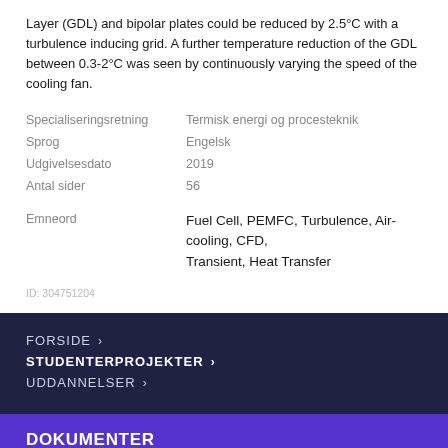Layer (GDL) and bipolar plates could be reduced by 2.5°C with a turbulence inducing grid. A further temperature reduction of the GDL between 0.3-2°C was seen by continuously varying the speed of the cooling fan.
| Specialiseringsretning | Termisk energi og procesteknik |
| Sprog | Engelsk |
| Udgivelsesdato | 2019 |
| Antal sider | 56 |
Emneord   Fuel Cell, PEMFC, Turbulence, Air-cooling, CFD, Transient, Heat Transfer
ID: 304751204
FORSIDE ›
STUDENTERPROJEKTER ›
UDDANNELSER ›
DOKUMENTER
MA_Thesis_AlexanderLind